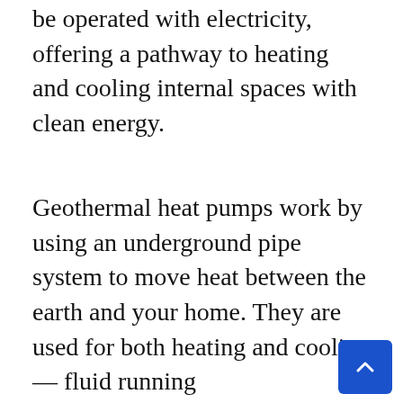be operated with electricity, offering a pathway to heating and cooling internal spaces with clean energy.
Geothermal heat pumps work by using an underground pipe system to move heat between the earth and your home. They are used for both heating and cooling — fluid running
This website uses cookies to improve and customize the user experience. To learn more, please see our cookie policy.
use to operate is less than is used by